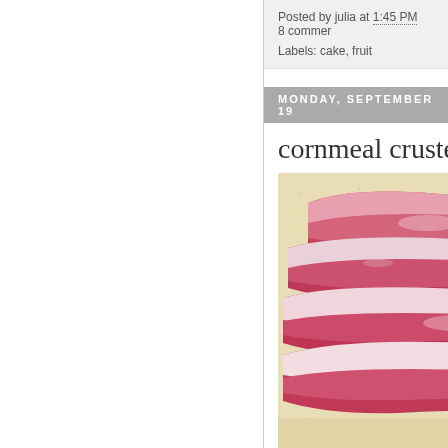Posted by julia at 1:45 PM   8 comments
Labels: cake, fruit
MONDAY, SEPTEMBER 19
cornmeal crusted plu
[Figure (photo): Close-up photo of sliced plums arranged on what appears to be a cornmeal-crusted surface. The plum slices show deep red/crimson flesh with white interior, glistening with moisture, arranged in overlapping rows.]